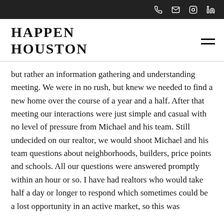HAPPEN HOUSTON — navigation bar with phone, email, instagram, linkedin icons
HAPPEN
HOUSTON
but rather an information gathering and understanding meeting. We were in no rush, but knew we needed to find a new home over the course of a year and a half. After that meeting our interactions were just simple and casual with no level of pressure from Michael and his team. Still undecided on our realtor, we would shoot Michael and his team questions about neighborhoods, builders, price points and schools. All our questions were answered promptly within an hour or so. I have had realtors who would take half a day or longer to respond which sometimes could be a lost opportunity in an active market, so this was